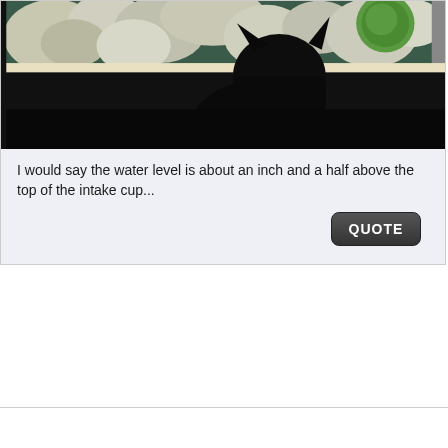[Figure (photo): A cat silhouette sitting in front of a fish tank/aquarium filled with coral and rocks, viewed from below/side. The aquarium has greenish water with white coral rocks visible. The cat appears as a dark silhouette against the tank.]
I would say the water level is about an inch and a half above the top of the intake cup...